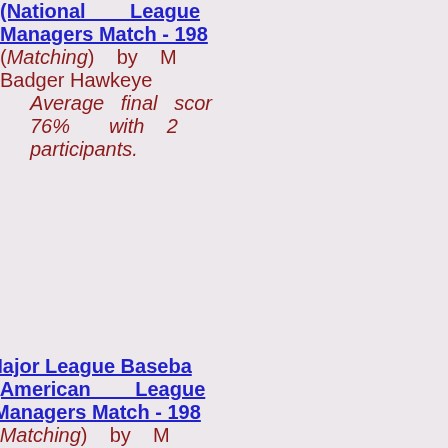(National League Managers Match - 198... (Matching) by M... Badger Hawkeye Average final scor... 76% with 2... participants.
(14) Major League Baseba... (American League Managers Match - 198... (Matching) by M... Badger Hawkeye Average final scor... 72% with 2... participants.
(12) Major League Baseba... (National League Managers Match - 197... (Matching) by M... Badger Hawkeye Average final scor...